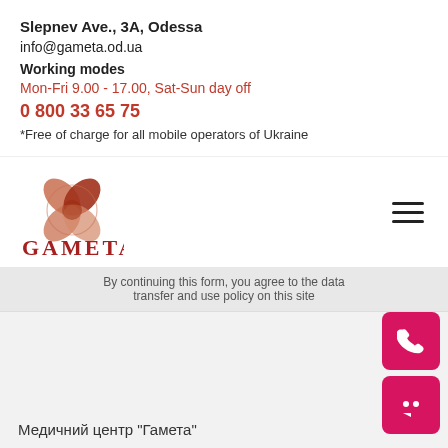Slepnev Ave., 3A, Odessa
info@gameta.od.ua
Working modes
Mon-Fri 9.00 - 17.00, Sat-Sun day off
0 800 33 65 75
*Free of charge for all mobile operators of Ukraine
[Figure (logo): Gameta flower logo with four petals in terracotta/brown tones, and GAMETA text below in dark red serif font]
By continuing this form, you agree to the data transfer and use policy on this site
[Figure (other): Pink phone call floating action button]
[Figure (other): Pink chat floating action button]
Медичний центр "Гамета"